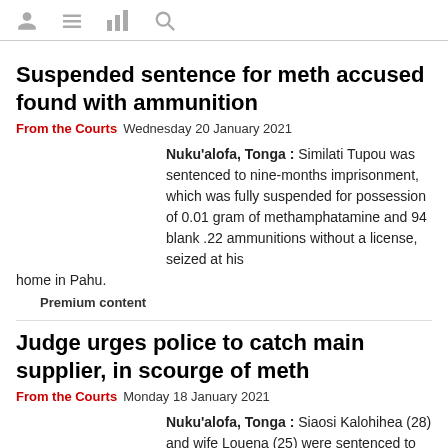[navigation icons: user, menu, chart, search]
Suspended sentence for meth accused found with ammunition
From the Courts  Wednesday 20 January 2021
Nuku'alofa, Tonga : Similati Tupou was sentenced to nine-months imprisonment, which was fully suspended for possession of 0.01 gram of methamphatamine and 94 blank .22 ammunitions without a license, seized at his home in Pahu.
Premium content
Judge urges police to catch main supplier, in scourge of meth
From the Courts  Monday 18 January 2021
Nuku'alofa, Tonga : Siaosi Kalohihea (28) and wife Louena (25) were sentenced to six-months imprisonment for possession of illicit drugs, which was fully suspended, by a Supreme Court judge who urged Tonga Police to catch the main